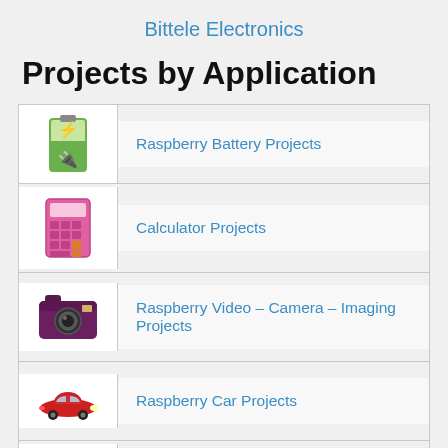Bittele Electronics
Projects by Application
Raspberry Battery Projects
Calculator Projects
Raspberry Video – Camera – Imaging Projects
Raspberry Car Projects
Clock – Timer Projects